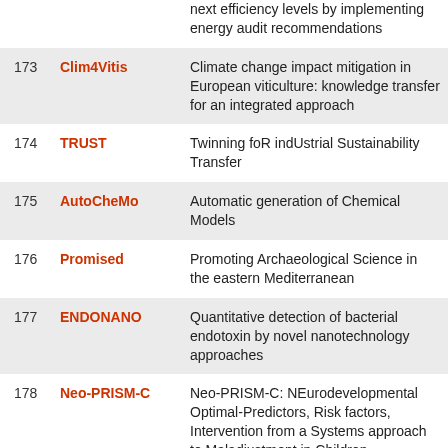| # | Name | Description |
| --- | --- | --- |
|  |  | next efficiency levels by implementing energy audit recommendations |
| 173 | Clim4Vitis | Climate change impact mitigation in European viticulture: knowledge transfer for an integrated approach |
| 174 | TRUST | Twinning foR indUstrial Sustainability Transfer |
| 175 | AutoCheMo | Automatic generation of Chemical Models |
| 176 | Promised | Promoting Archaeological Science in the eastern Mediterranean |
| 177 | ENDONANO | Quantitative detection of bacterial endotoxin by novel nanotechnology approaches |
| 178 | Neo-PRISM-C | Neo-PRISM-C: NEurodevelopmental Optimal-Predictors, Risk factors, and Intervention from a Systems approach to Maladjustment in Children |